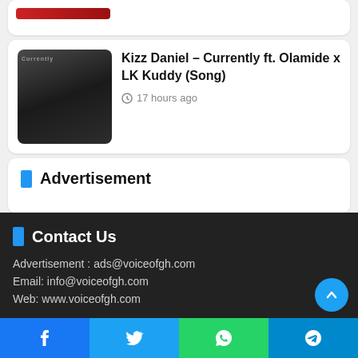[Figure (photo): Partial thumbnail of an album or artist image at the top, cropped]
Kizz Daniel – Currently ft. Olamide x LK Kuddy (Song)
17 hours ago
Advertisement
Contact Us
Advertisement : ads@voiceofgh.com
Email: info@voiceofgh.com
Web: www.voiceofgh.com
Facebook | Twitter | WhatsApp | Telegram